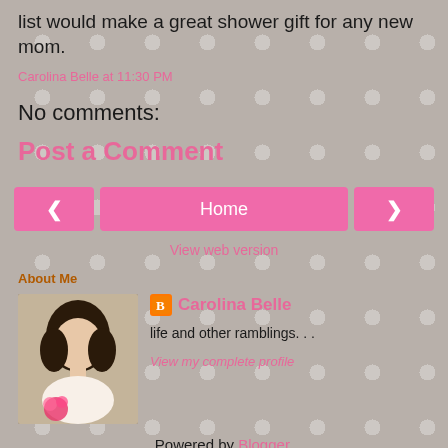list would make a great shower gift for any new mom.
Carolina Belle at 11:30 PM
No comments:
Post a Comment
< Home >
View web version
About Me
[Figure (photo): Profile photo of Carolina Belle - woman with dark hair]
Carolina Belle
life and other ramblings. . .
View my complete profile
Powered by Blogger.